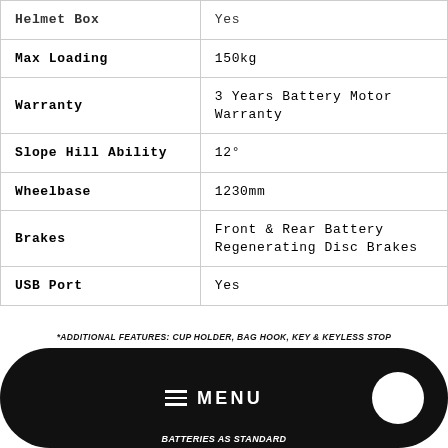| Feature | Value |
| --- | --- |
| Helmet Box | Yes |
| Max Loading | 150kg |
| Warranty | 3 Years Battery Motor Warranty |
| Slope Hill Ability | 12° |
| Wheelbase | 1230mm |
| Brakes | Front & Rear Battery Regenerating Disc Brakes |
| USB Port | Yes |
*ADDITIONAL FEATURES: CUP HOLDER, BAG HOOK, KEY & KEYLESS STOP
BATTERIES AS STANDARD